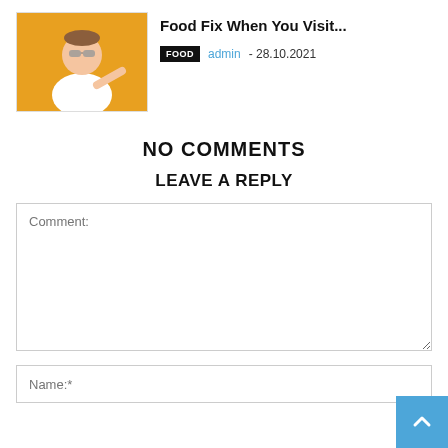[Figure (photo): Thumbnail photo of a young man in sunglasses and white t-shirt on yellow/orange background, pointing at camera]
Food Fix When You Visit...
FOOD  admin - 28.10.2021
NO COMMENTS
LEAVE A REPLY
Comment:
Name:*